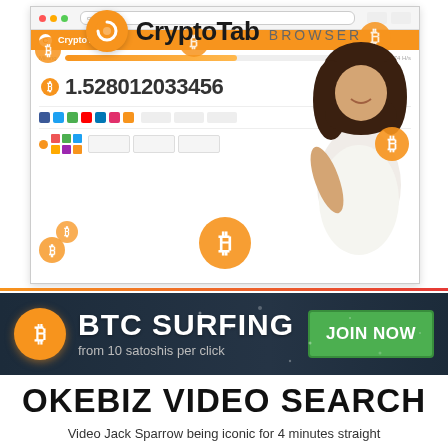[Figure (screenshot): CryptoTab Browser advertisement showing browser interface with bitcoin balance of 1.528012033456 BTC, floating bitcoin coin icons, and a smiling woman with curly hair pointing at the screen]
[Figure (infographic): BTC Surfing banner advertisement on dark background with bitcoin icon, text 'BTC SURFING from 10 satoshis per click' and green JOIN NOW button]
OKEBIZ VIDEO SEARCH
Video Jack Sparrow being iconic for 4 minutes straight